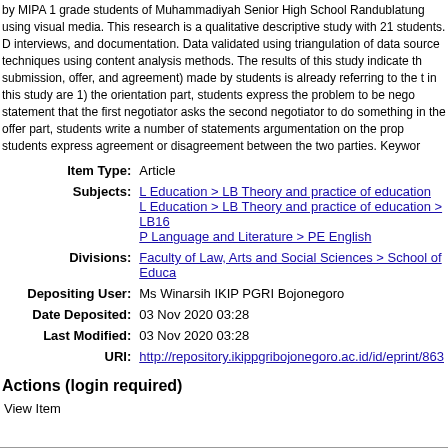by MIPA 1 grade students of Muhammadiyah Senior High School Randublatung using visual media. This research is a qualitative descriptive study with 21 students. Data collected through interviews, and documentation. Data validated using triangulation of data sources and triangulation techniques using content analysis methods. The results of this study indicate that the negotiation text (orientation, submission, offer, and agreement) made by students is already referring to the text structure. The findings in this study are 1) the orientation part, students express the problem to be negotiated; 2) the submission statement that the first negotiator asks the second negotiator to do something in accordance wishes; 3) the offer part, students write a number of statements argumentation on the proposed problem; 4) the agreement, students express agreement or disagreement between the two parties. Keywords
| Label | Value |
| --- | --- |
| Item Type: | Article |
| Subjects: | L Education > LB Theory and practice of education
L Education > LB Theory and practice of education > LB16...
P Language and Literature > PE English |
| Divisions: | Faculty of Law, Arts and Social Sciences > School of Educa... |
| Depositing User: | Ms Winarsih IKIP PGRI Bojonegoro |
| Date Deposited: | 03 Nov 2020 03:28 |
| Last Modified: | 03 Nov 2020 03:28 |
| URI: | http://repository.ikippgribojonegoro.ac.id/id/eprint/863 |
Actions (login required)
View Item